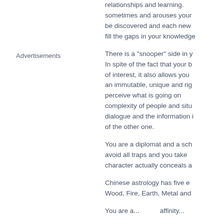relationships and learning. sometimes and arouses your be discovered and each new fill the gaps in your knowledge
There is a "snooper" side in y... In spite of the fact that your b of interest, it also allows you an immutable, unique and rig perceive what is going on complexity of people and situ dialogue and the information i of the other one.
You are a diplomat and a sch avoid all traps and you take character actually conceals a
Chinese astrology has five e Wood, Fire, Earth, Metal and
You are a...affinity...
Advertisements